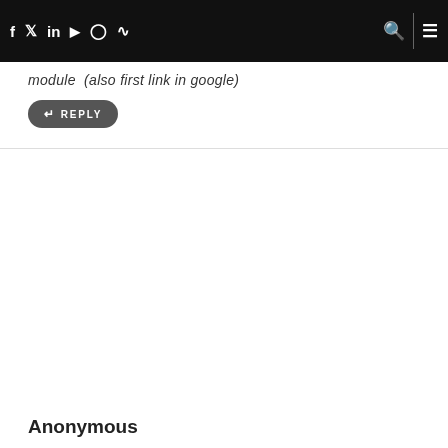f  tw  in  yt  ig  rss  [search]  [menu]
module  (also first link in google)
↩ REPLY
Anonymous